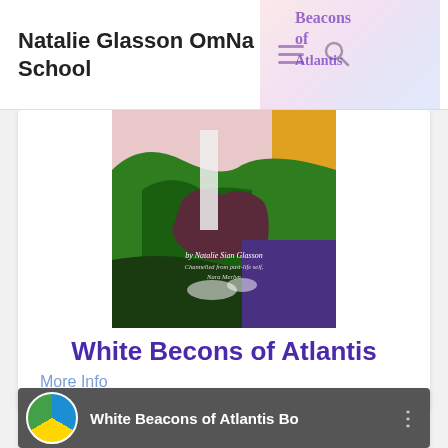Natalie Glasson OmNa School
[Figure (illustration): Book cover painting: cliffs with green grass, dark cave/waterfall area, and colorful background in yellow, purple. Text reads: by Natalie Sian Glasson, Channelled from past-life self, Nara Merlyn. Book is titled White Beacons of Atlantis.]
White Becons of Atlantis
More Info
[Figure (screenshot): Video thumbnail showing a circular logo with blue, yellow and green colors. White text: White Beacons of Atlantis Bo]